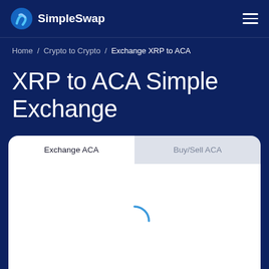SimpleSwap
Home / Crypto to Crypto / Exchange XRP to ACA
XRP to ACA Simple Exchange
[Figure (screenshot): Exchange widget with two tabs: 'Exchange ACA' (active, white background) and 'Buy/Sell ACA' (inactive, grey background), with a loading spinner in the body of the widget.]